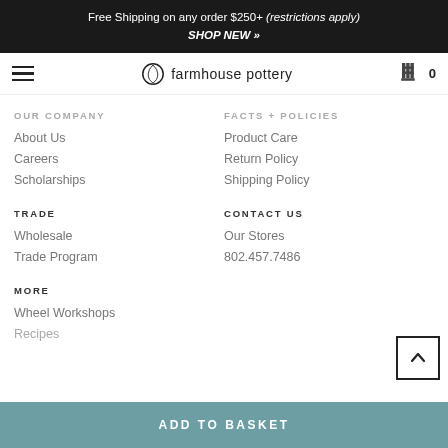Free Shipping on any order $250+ (restrictions apply)
SHOP NEW »
[Figure (logo): Farmhouse Pottery logo with hamburger menu and cart icon]
OUR COMPANY
About Us
Careers
Scholarships
FACTS + POLICIES
Product Care
Return Policy
Shipping Policy
TRADE
Wholesale
Trade Program
CONTACT US
Our Stores
802.457.7486
MORE
Wheel Workshops
Recipes
ADD TO BASKET